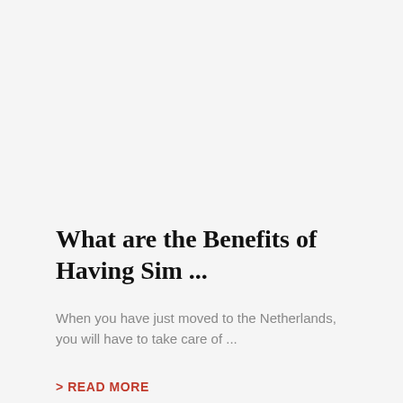What are the Benefits of Having Sim ...
When you have just moved to the Netherlands, you will have to take care of ...
> READ MORE